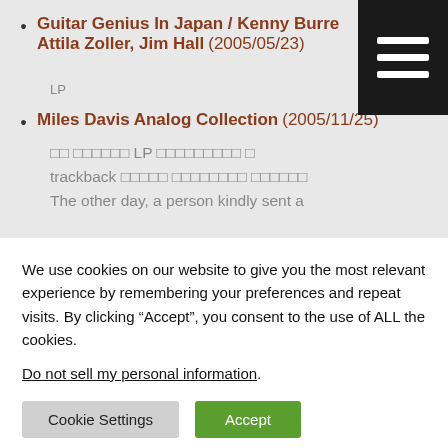Guitar Genius In Japan / Kenny Burrell, Attila Zoller, Jim Hall (2005/05/23)
[Japanese text body paragraph about LP]
Miles Davis Analog Collection (2005/11/25)
[Japanese text] LP [Japanese text] trackback [Japanese text] The other day, a person kindly sent a
We use cookies on our website to give you the most relevant experience by remembering your preferences and repeat visits. By clicking “Accept”, you consent to the use of ALL the cookies.
Do not sell my personal information.
Cookie Settings | Accept